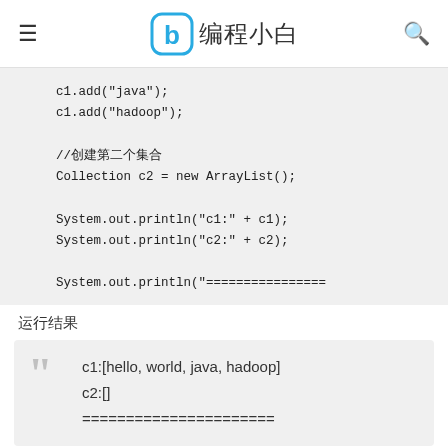编程小白
c1.add("java");
c1.add("hadoop");

//创建第二个集合
Collection c2 = new ArrayList();

System.out.println("c1:" + c1);
System.out.println("c2:" + c2);

System.out.println("==================
运行结果
c1:[hello, world, java, hadoop]
c2:[]
======================